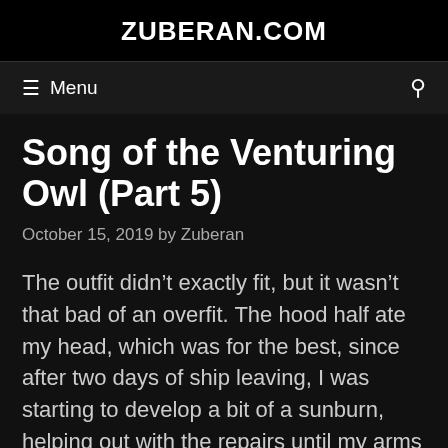ZUBERAN.COM
Menu
Song of the Venturing Owl (Part 5)
October 15, 2019 by Zuberan
The outfit didn’t exactly fit, but it wasn’t that bad of an overfit. The hood half ate my head, which was for the best, since after two days of ship leaving, I was starting to develop a bit of a sunburn, helping out with the repairs until my arms ached.